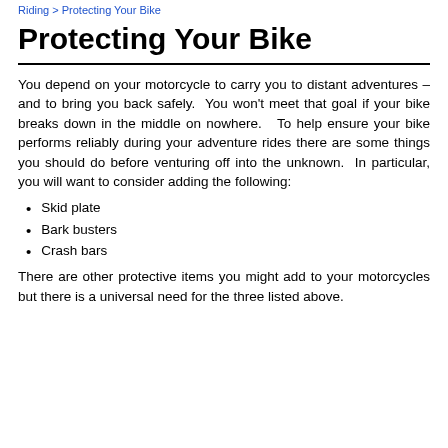Riding > Protecting Your Bike
Protecting Your Bike
You depend on your motorcycle to carry you to distant adventures – and to bring you back safely.  You won't meet that goal if your bike breaks down in the middle on nowhere.   To help ensure your bike performs reliably during your adventure rides there are some things you should do before venturing off into the unknown.  In particular, you will want to consider adding the following:
Skid plate
Bark busters
Crash bars
There are other protective items you might add to your motorcycles but there is a universal need for the three listed above.